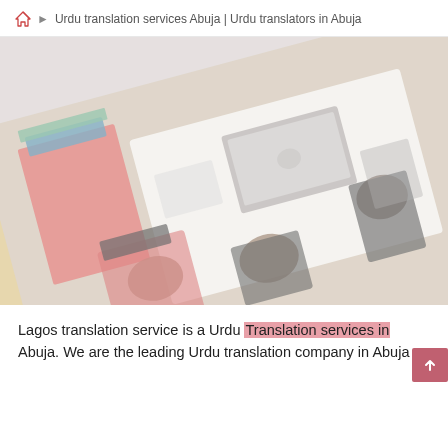Urdu translation services Abuja | Urdu translators in Abuja
[Figure (photo): Aerial/overhead view of people working around a table with laptops and books, image appears rotated/tilted.]
Lagos translation service is a Urdu Translation services in Abuja. We are the leading Urdu translation company in Abuja